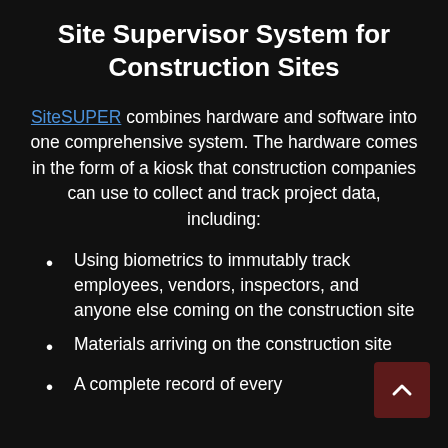Site Supervisor System for Construction Sites
SiteSUPER combines hardware and software into one comprehensive system. The hardware comes in the form of a kiosk that construction companies can use to collect and track project data, including:
Using biometrics to immutably track employees, vendors, inspectors, and anyone else coming on the construction site
Materials arriving on the construction site
A complete record of every